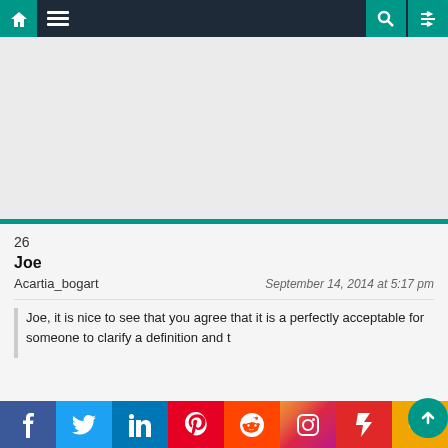[Figure (screenshot): Website navigation bar with home icon, hamburger menu, search icon, and shuffle icon on dark teal/navy background]
[Figure (other): Advertisement placeholder area, light gray background]
26
Joe
Acartia_bogart
September 14, 2014 at 5:17 pm
Joe, it is nice to see that you agree that it is a perfectly acceptable for someone to clarify a definition and t
[Figure (other): Social share bar with Facebook, Twitter, LinkedIn, Pinterest, Reddit, Instagram, Flipboard, and More buttons]